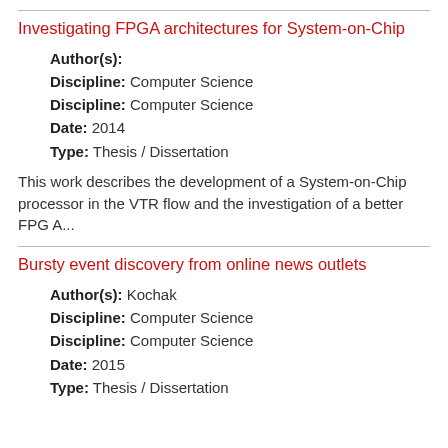Investigating FPGA architectures for System-on-Chip
Author(s):
Discipline: Computer Science
Discipline: Computer Science
Date: 2014
Type: Thesis / Dissertation
This work describes the development of a System-on-Chip processor in the VTR flow and the investigation of a better FPG A...
Bursty event discovery from online news outlets
Author(s): Kochak
Discipline: Computer Science
Discipline: Computer Science
Date: 2015
Type: Thesis / Dissertation